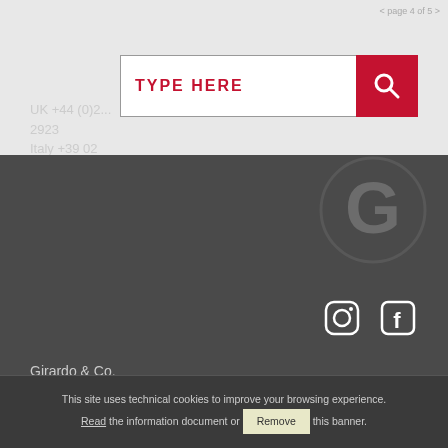< page 4 of 5 >
[Figure (screenshot): Search box with TYPE HERE placeholder and red search button with magnifying glass icon]
UK +44 (0)2... 2923
Italy +39 02
36003241
[Figure (logo): Large G logo watermark in grey]
[Figure (illustration): Instagram and Facebook social media icons in white]
Girardo & Co. Limited, Registered in England & Wales with number 09471821 Copyright 2020
CONTACT
This site uses technical cookies to improve your browsing experience. Read the information document or Remove this banner.